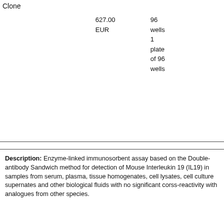| Clone | Price | Quantity |
| --- | --- | --- |
|  | 627.00 EUR | 96 wells
1 plate of 96 wells |
Description: Enzyme-linked immunosorbent assay based on the Double-antibody Sandwich method for detection of Mouse Interleukin 19 (IL19) in samples from serum, plasma, tissue homogenates, cell lysates, cell culture supernates and other biological fluids with no significant corss-reactivity with analogues from other species.
[Figure (photo): Product image of Rat Interleukin 19 (IL19) ELISA Kit showing kit packaging with label]
Rat Interleukin 19 (IL19) ELISA Kit